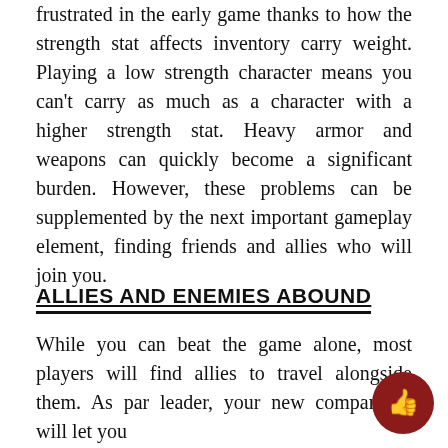frustrated in the early game thanks to how the strength stat affects inventory carry weight. Playing a low strength character means you can't carry as much as a character with a higher strength stat. Heavy armor and weapons can quickly become a significant burden. However, these problems can be supplemented by the next important gameplay element, finding friends and allies who will join you.
ALLIES AND ENEMIES ABOUND
While you can beat the game alone, most players will find allies to travel alongside them. As par leader, your new companions will let you